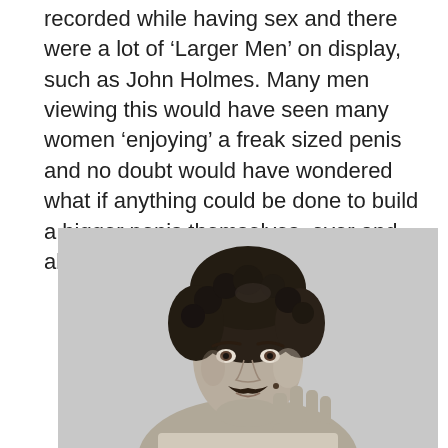recorded while having sex and there were a lot of ‘Larger Men’ on display, such as John Holmes. Many men viewing this would have seen many women ‘enjoying’ a freak sized penis and no doubt would have wondered what if anything could be done to build a bigger penis themselves, over and above their natural genetics.
[Figure (photo): Black and white portrait photograph of a man with curly dark hair and a mustache, shirtless, gesturing with his hand.]